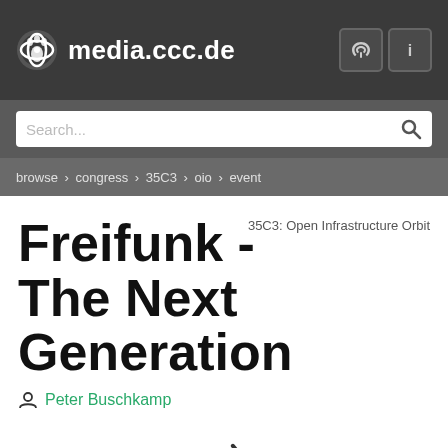media.ccc.de
Search...
browse > congress > 35C3 > oio > event
Freifunk - The Next Generation
35C3: Open Infrastructure Orbit
Peter Buschkamp